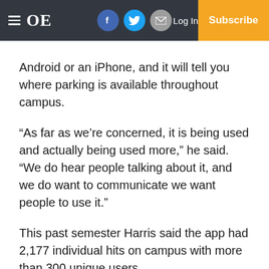OE | Log In | Subscribe
Android or an iPhone, and it will tell you where parking is available throughout campus.
“As far as we’re concerned, it is being used and actually being used more,” he said. “We do hear people talking about it, and we do want to communicate we want people to use it.”
This past semester Harris said the app had 2,177 individual hits on campus with more than 300 unique users.